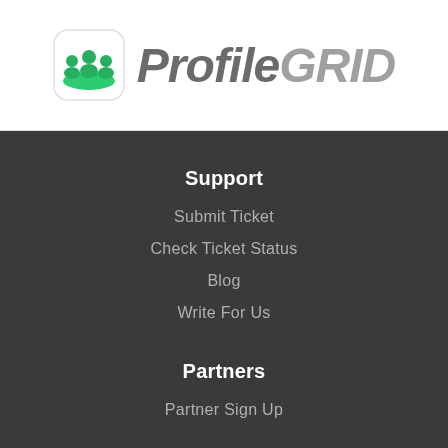[Figure (logo): ProfileGRID logo with green icon showing people silhouettes and stylized italic text 'ProfileGRID']
Support
Submit Ticket
Check Ticket Status
Blog
Write For Us
Partners
Partner Sign Up